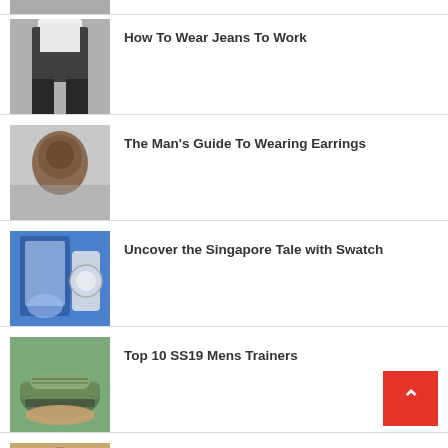[Figure (photo): Partial top image of a person, cropped]
How To Wear Jeans To Work
The Man's Guide To Wearing Earrings
Uncover the Singapore Tale with Swatch
Top 10 SS19 Mens Trainers
The Stylish Man's Guide To Airport Style